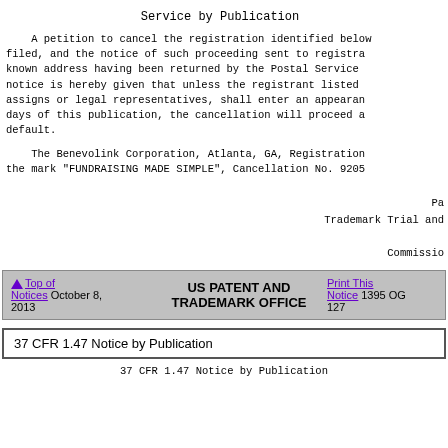Service by Publication
A petition to cancel the registration identified below filed, and the notice of such proceeding sent to registra known address having been returned by the Postal Service notice is hereby given that unless the registrant listed assigns or legal representatives, shall enter an appearan days of this publication, the cancellation will proceed a default.
The Benevolink Corporation, Atlanta, GA, Registration the mark "FUNDRAISING MADE SIMPLE", Cancellation No. 9205
Pa
Trademark Trial and

Commissio
| Top of Notices October 8, 2013 | US PATENT AND TRADEMARK OFFICE | Print This Notice 1395 OG 127 |
37 CFR 1.47 Notice by Publication
37 CFR 1.47 Notice by Publication